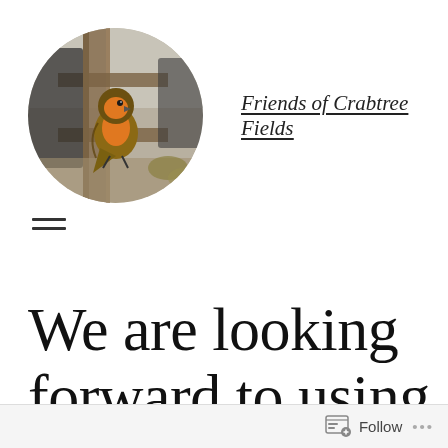[Figure (photo): Circular cropped photo of a robin bird perched on a wooden post/ladder, with garden furniture and leaves in the background]
Friends of Crabtree Fields
≡
We are looking forward to using our
Follow  ...